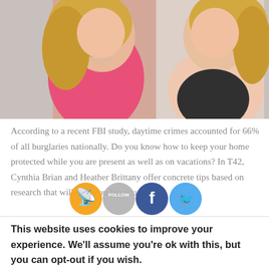[Figure (photo): Two smiling women with blonde hair, one wearing a pink jacket and necklace, the other wearing a light pink/peach scarf, cropped at the top of the page]
According to a recent FBI study, daytime crimes accounted for 66% of all burglaries nationally. Do you know how to keep your home protected while you are present as well as on vacations? In T42, Cynthia Brian and Heather Brittany offer concrete tips based on research that will help you be secure.
[Figure (infographic): Social media sharing icons: RSS feed (orange), Follow (gray), Facebook (blue), Twitter (blue)]
This website uses cookies to improve your experience. We'll assume you're ok with this, but you can opt-out if you wish.
Accept   Read More